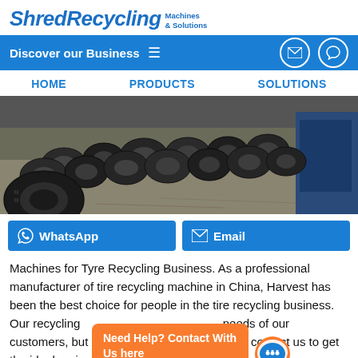ShredRecycling Machines & Solutions
Discover our Business
HOME
PRODUCTS
SOLUTIONS
[Figure (photo): Large pile of used tyres stacked on a concrete warehouse floor with industrial equipment in the background]
WhatsApp
Email
Machines for Tyre Recycling Business. As a professional manufacturer of tire recycling machine in China, Harvest has been the best choice for people in the tire recycling business. Our recycling machines not only meet the needs of our customers, but also welcome you to contact us to get the ideal project we design for you. Tire
Need Help? Contact With Us here